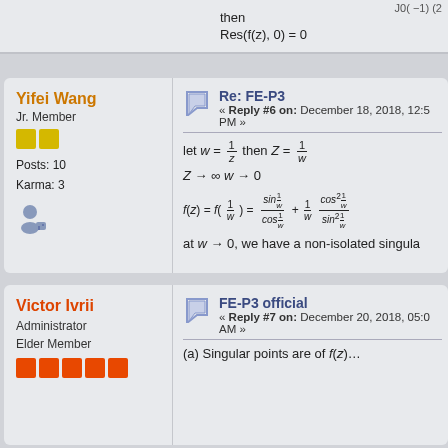Yifei Wang
Jr. Member
Posts: 10
Karma: 3
Re: FE-P3
« Reply #6 on: December 18, 2018, 12:55 PM »
at w → 0, we have a non-isolated singula…
Victor Ivrii
Administrator
Elder Member
FE-P3 official
« Reply #7 on: December 20, 2018, 05:04 AM »
(a) Singular points are of f(z)...